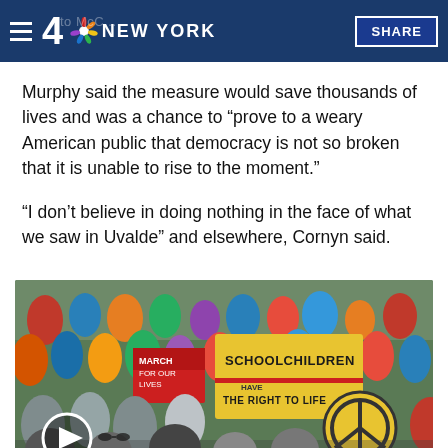4 NBC NEW YORK  SHARE
Murphy said the measure would save thousands of lives and was a chance to “prove to a weary American public that democracy is not so broken that it is unable to rise to the moment.”
“I don’t believe in doing nothing in the face of what we saw in Uvalde” and elsewhere, Cornyn said.
[Figure (photo): Large crowd of protesters at an outdoor rally, holding signs including one that reads 'SCHOOLCHILDREN HAVE THE RIGHT TO LIFE' and another with a peace symbol. People wearing various colored shirts.]